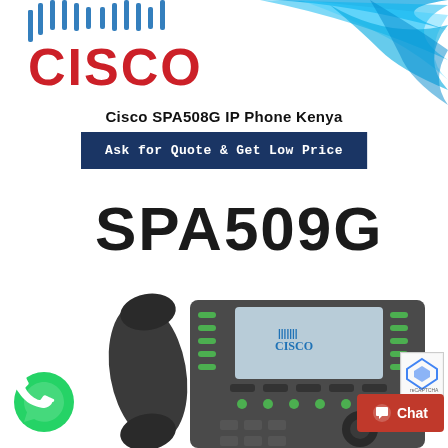[Figure (logo): Cisco logo with blue circular pattern bars at top and blue wave swoosh on right side, with large red CISCO text on white background]
Cisco SPA508G IP Phone Kenya
Ask for Quote & Get Low Price
[Figure (photo): Cisco SPA509G IP phone product image showing the phone with handset, LCD display showing Cisco logo, function buttons, green indicator LEDs, navigation pad, and keypad. Large SPA509G text appears above the phone.]
[Figure (logo): WhatsApp green circle icon with phone handset symbol]
Chat